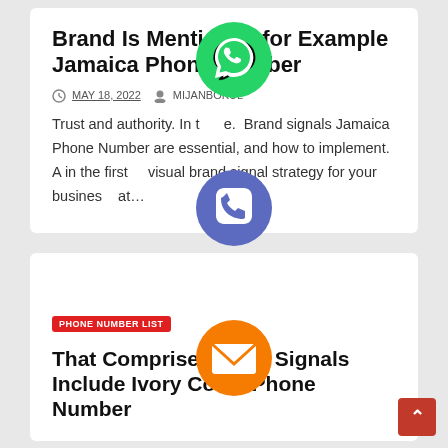Brand Is Mentioned for Example Jamaica Phone Number
MAY 18, 2022   MIJANBOKUL
Trust and authority. In the. Brand signals Jamaica Phone Number are essential, and how to implement. A in the first visual brand signal strategy for your business that…
[Figure (infographic): Social sharing icons overlaid on the page: WhatsApp (green), Phone/Call (blue/purple), Email (orange), LINE (green), Viber (purple), Close/X (green)]
PHONE NUMBER LIST
That Comprise Brand Signals Include Ivory Coast Phone Number